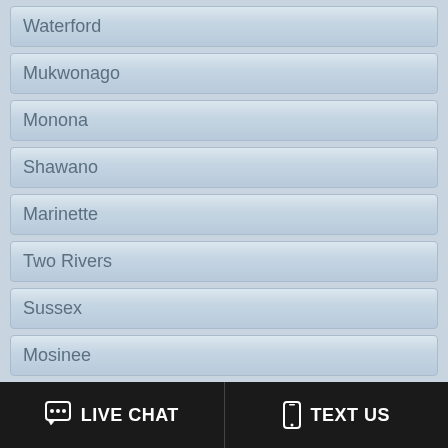Waterford
Mukwonago
Monona
Shawano
Marinette
Two Rivers
Sussex
Mosinee
Sparta
Elkhorn
Rice Lake
Delavan
LIVE CHAT   TEXT US